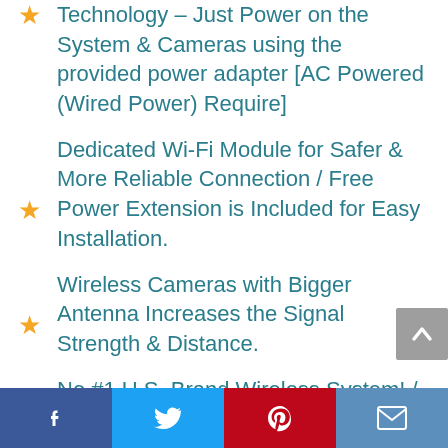Technology – Just Power on the System & Cameras using the provided power adapter [AC Powered (Wired Power) Require]
Dedicated Wi-Fi Module for Safer & More Reliable Connection / Free Power Extension is Included for Easy Installation.
Wireless Cameras with Bigger Antenna Increases the Signal Strength & Distance.
No #1 U.S. Brand Wireless System! / 1 Year Warranty for US Customers
Facebook | Twitter | Pinterest | Email